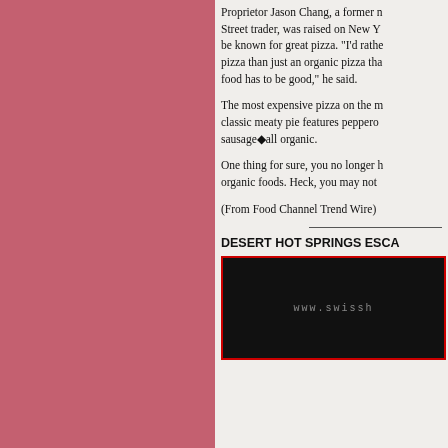Proprietor Jason Chang, a former n... Street trader, was raised on New Y... be known for great pizza. "I'd rathe... pizza than just an organic pizza tha... food has to be good," he said.
The most expensive pizza on the m... classic meaty pie features peppero... sausage◆all organic.
One thing for sure, you no longer h... organic foods. Heck, you may not
(From Food Channel Trend Wire)
DESERT HOT SPRINGS ESCA...
[Figure (photo): Dark photo with www.swissh... website URL text visible in white on black background, with red border]